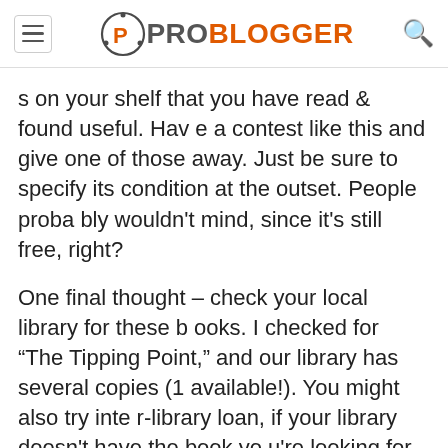ProBlogger
s on your shelf that you have read & found useful. Have a contest like this and give one of those away. Just be sure to specify its condition at the outset. People probably wouldn't mind, since it's still free, right?
One final thought – check your local library for these books. I checked for “The Tipping Point,” and our library has several copies (1 available!). You might also try inter-library loan, if your library doesn't have the book you're looking for.
Glory says: